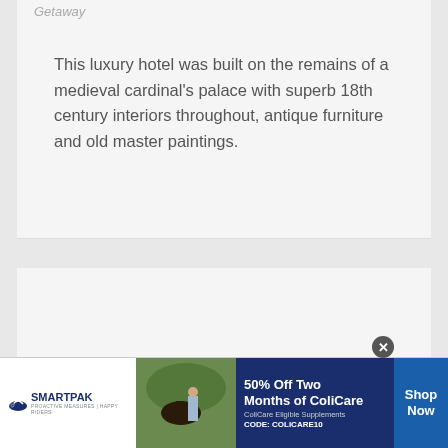Getaway
This luxury hotel was built on the remains of a medieval cardinal's palace with superb 18th century interiors throughout, antique furniture and old master paintings.
[Figure (photo): Hotel room interior showing beds, warm lighting, curtains, and a framed painting on the wall]
[Figure (photo): Advertisement banner: SmartPak logo with horse, image of person with horse, text reading '50% Off Two Months of ColiCare – ColiCare Eligible Supplements – CODE: COLICARE10' and 'Shop Now' button]